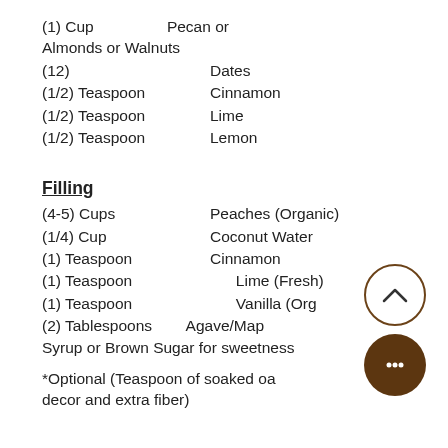(1) Cup    Pecan or Almonds or Walnuts
(12)    Dates
(1/2) Teaspoon    Cinnamon
(1/2) Teaspoon    Lime
(1/2) Teaspoon    Lemon
Filling
(4-5) Cups    Peaches (Organic)
(1/4) Cup    Coconut Water
(1) Teaspoon    Cinnamon
(1) Teaspoon    Lime (Fresh)
(1) Teaspoon    Vanilla (Org…
(2) Tablespoons    Agave/Map… Syrup or Brown Sugar for sweetness
*Optional (Teaspoon of soaked oa… decor and extra fiber)